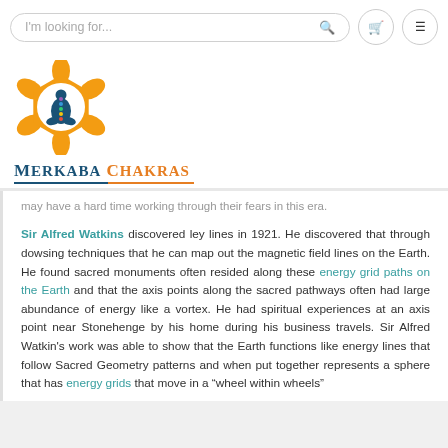I'm looking for...
[Figure (logo): Merkaba Chakras logo: orange geometric star/lotus shape with a blue meditating figure inside showing chakra colors, with the text MERKABA CHAKRAS below]
may have a hard time working through their fears in this era.
Sir Alfred Watkins discovered ley lines in 1921. He discovered that through dowsing techniques that he can map out the magnetic field lines on the Earth. He found sacred monuments often resided along these energy grid paths on the Earth and that the axis points along the sacred pathways often had large abundance of energy like a vortex. He had spiritual experiences at an axis point near Stonehenge by his home during his business travels. Sir Alfred Watkin's work was able to show that the Earth functions like energy lines that follow Sacred Geometry patterns and when put together represents a sphere that has energy grids that move in a “wheel within wheels”